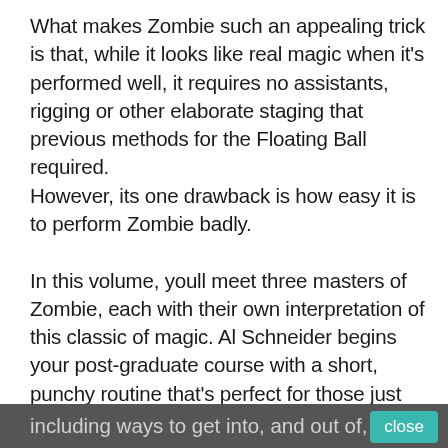What makes Zombie such an appealing trick is that, while it looks like real magic when it's performed well, it requires no assistants, rigging or other elaborate staging that previous methods for the Floating Ball required.
However, its one drawback is how easy it is to perform Zombie badly.

In this volume, youll meet three masters of Zombie, each with their own interpretation of this classic of magic. Al Schneider begins your post-graduate course with a short, punchy routine that's perfect for those just learning Zombie to become acquainted with the basic moves and handling. He also provides some great tips on modifying the props for maximum deceptiveness. Jeff McBride is next with perhaps the most elaborate exposition of Zombie ever produced. Every move is demonstrated and explained in explicit detail, including ways to get into, and out of, the
including ways to get into, and out of, the   close